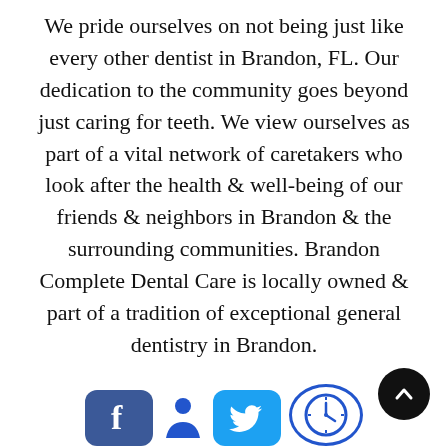We pride ourselves on not being just like every other dentist in Brandon, FL. Our dedication to the community goes beyond just caring for teeth. We view ourselves as part of a vital network of caretakers who look after the health & well-being of our friends & neighbors in Brandon & the surrounding communities. Brandon Complete Dental Care is locally owned & part of a tradition of exceptional general dentistry in Brandon.
[Figure (illustration): Row of social media and contact icons at the bottom: Facebook icon (blue rounded square), person/user icon (blue), Twitter icon (blue rounded square with bird), clock/hours icon (blue circle outline). Plus a dark circular back-to-top arrow button at bottom right.]